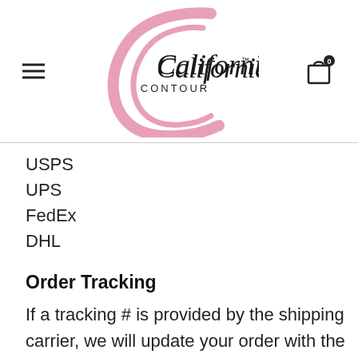[Figure (logo): California Contour logo — pink circular C with California script text and CONTOUR in caps]
USPS
UPS
FedEx
DHL
Order Tracking
If a tracking # is provided by the shipping carrier, we will update your order with the tracking information. Please note that some